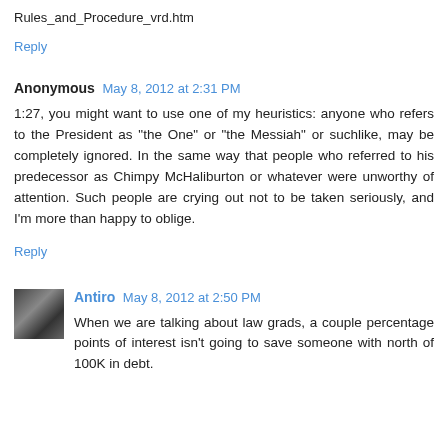Rules_and_Procedure_vrd.htm
Reply
Anonymous May 8, 2012 at 2:31 PM
1:27, you might want to use one of my heuristics: anyone who refers to the President as "the One" or "the Messiah" or suchlike, may be completely ignored. In the same way that people who referred to his predecessor as Chimpy McHaliburton or whatever were unworthy of attention. Such people are crying out not to be taken seriously, and I'm more than happy to oblige.
Reply
Antiro May 8, 2012 at 2:50 PM
When we are talking about law grads, a couple percentage points of interest isn't going to save someone with north of 100K in debt.